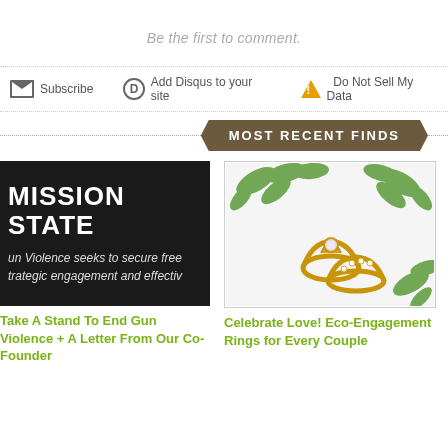Be the first to comment.
Subscribe   Add Disqus to your site   Do Not Sell My Data
MOST RECENT FINDS
[Figure (photo): Mission statement graphic with white bold text on dark background reading 'MISSION STATE' and text about gun violence and strategic engagement]
Take A Stand To End Gun Violence + A Letter From Our Co-Founder
[Figure (photo): Photo of two gold engagement/wedding rings with diamonds on a white background with green leaves]
Celebrate Love! Eco-Engagement Rings for Every Couple